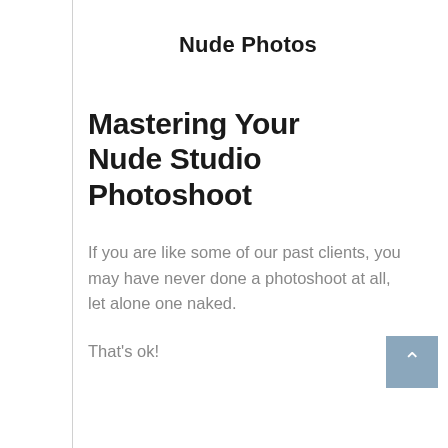Nude Photos
Mastering Your Nude Studio Photoshoot
If you are like some of our past clients, you may have never done a photoshoot at all, let alone one naked.
That's ok!